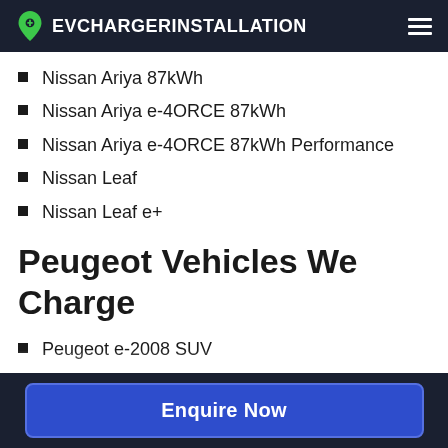EVCHARGERINSTALLATION
Nissan Ariya 87kWh
Nissan Ariya e-4ORCE 87kWh
Nissan Ariya e-4ORCE 87kWh Performance
Nissan Leaf
Nissan Leaf e+
Peugeot Vehicles We Charge
Peugeot e-2008 SUV
Peugeot e-208
Peugeot e-Rifter Long 50 kWh
Peugeot e-Rifter Standard 50 kWh
Enquire Now